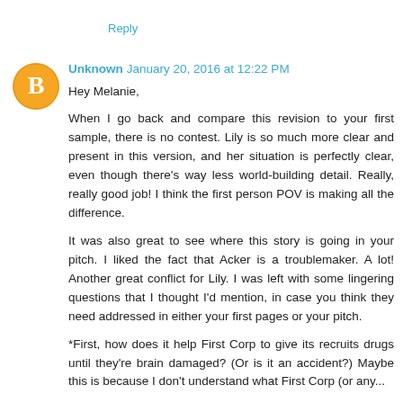Reply
Unknown January 20, 2016 at 12:22 PM
Hey Melanie,

When I go back and compare this revision to your first sample, there is no contest. Lily is so much more clear and present in this version, and her situation is perfectly clear, even though there's way less world-building detail. Really, really good job! I think the first person POV is making all the difference.

It was also great to see where this story is going in your pitch. I liked the fact that Acker is a troublemaker. A lot! Another great conflict for Lily. I was left with some lingering questions that I thought I'd mention, in case you think they need addressed in either your first pages or your pitch.

*First, how does it help First Corp to give its recruits drugs until they're brain damaged? (Or is it an accident?) Maybe this is because I don't understand what First Corp (or any...